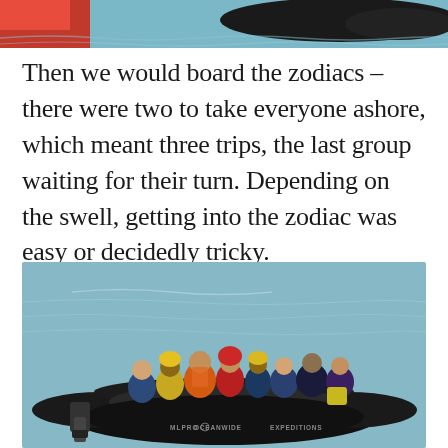[Figure (photo): Partial top photo showing red element on left and dark animal/sea creature on right with water, cropped at top of page]
Then we would board the zodiacs – there were two to take everyone ashore, which meant three trips, the last group waiting for their turn. Depending on the swell, getting into the zodiac was easy or decidedly tricky.
[Figure (photo): People in colorful life jackets (orange, yellow, red, blue) seated in a black inflatable zodiac boat with outboard motor on blue-grey water. Text on boat reads MLPRO OCEANWIDE EXPEDITIONS.]